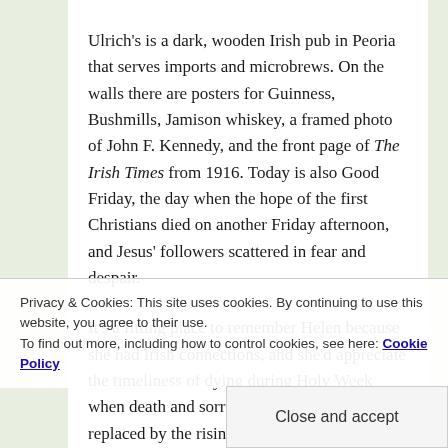Ulrich's is a dark, wooden Irish pub in Peoria that serves imports and microbrews. On the walls there are posters for Guinness, Bushmills, Jamison whiskey, a framed photo of John F. Kennedy, and the front page of The Irish Times from 1916. Today is also Good Friday, the day when the hope of the first Christians died on another Friday afternoon, and Jesus' followers scattered in fear and despair.
It's a fitting place to remember Helen because she had Irish connections, and she'd appreciate the timeliness of dying during Holy Week when death and sorrow would soon be replaced by the rising on Easter. She liked being on time. She also liked work done right, and would tell you if you weren't doing it the way she wanted, even at church where idealism often debates practicality to a standstill. For two years, she battled a rare blood disease, and we thought she was getting better, then pneumonia set in, and she was gone. During her last days, when questions about heaven surfaced, she held on to her faith in faith.
We raise a glass in her: Not lost, just gone on before us.
Privacy & Cookies: This site uses cookies. By continuing to use this website, you agree to their use. To find out more, including how to control cookies, see here: Cookie Policy
Close and accept